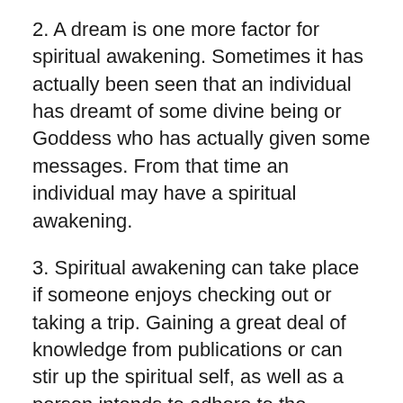2. A dream is one more factor for spiritual awakening. Sometimes it has actually been seen that an individual has dreamt of some divine being or Goddess who has actually given some messages. From that time an individual may have a spiritual awakening.
3. Spiritual awakening can take place if someone enjoys checking out or taking a trip. Gaining a great deal of knowledge from publications or can stir up the spiritual self, as well as a person intends to adhere to the spiritual self-controls frequently.
4. Though it appears weird, it is possible that a person might deal with some paranormal occurrences in his life which might be magical or macabre. Such sort of experience